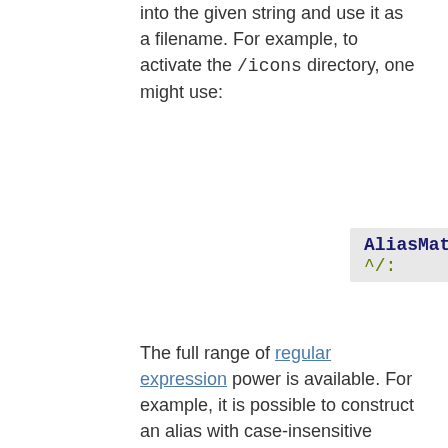into the given string and use it as a filename. For example, to activate the /icons directory, one might use:
AliasMatch ^/:
The full range of regular expression power is available. For example, it is possible to construct an alias with case-insensitive matching of the URL-path:
AliasMatch (?::
One subtle difference between Alias and AliasMatch is that Alias will automatically copy any additional part of the URI, past the part that matched, onto the